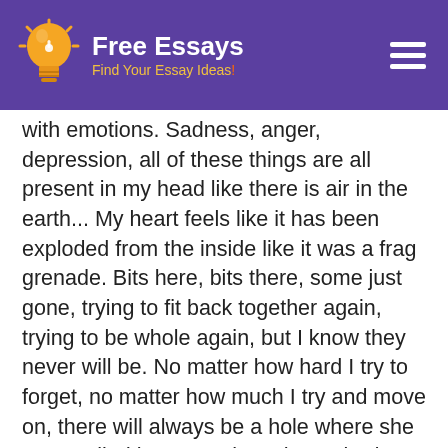Free Essays — Find Your Essay Ideas!
with emotions. Sadness, anger, depression, all of these things are all present in my head like there is air in the earth... My heart feels like it has been exploded from the inside like it was a frag grenade. Bits here, bits there, some just gone, trying to fit back together again, trying to be whole again, but I know they never will be. No matter how hard I try to forget, no matter how much I try and move on, there will always be a hole where she once called home, a place that nobody can fill but her. So now as I leave you all with what's left of my broken heart, I pray you never have to experience this pain,